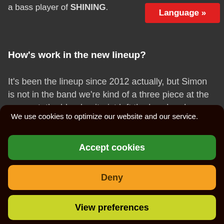a bass player of SHINING.
Language »
How's work in the new lineup?
It's been the lineup since 2012 actually, but Simon is not in the band we're kind of a three piece at the moment, the blond guitarist left the band and we were looking for another one to replace him in the beginning but that was
We use cookies to optimize our website and our service.
Accept cookies
Deny
View preferences
Cookie Policy   Privacy Policy